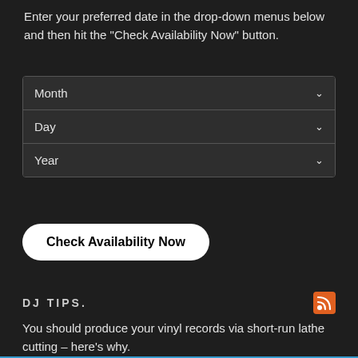Enter your preferred date in the drop-down menus below and then hit the "Check Availability Now" button.
[Figure (screenshot): Three stacked dropdown menus labeled Month, Day, and Year with chevron arrows on a dark background]
Check Availability Now
DJ TIPS.
You should produce your vinyl records via short-run lathe cutting – here's why.